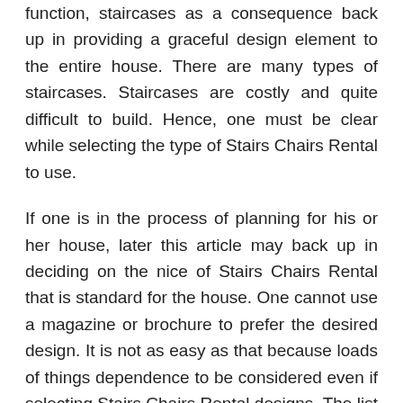function, staircases as a consequence back up in providing a graceful design element to the entire house. There are many types of staircases. Staircases are costly and quite difficult to build. Hence, one must be clear while selecting the type of Stairs Chairs Rental to use.
If one is in the process of planning for his or her house, later this article may back up in deciding on the nice of Stairs Chairs Rental that is standard for the house. One cannot use a magazine or brochure to prefer the desired design. It is not as easy as that because loads of things dependence to be considered even if selecting Stairs Chairs Rental designs. The list answer under can back in coming occurring in the manner of a sealed decision.